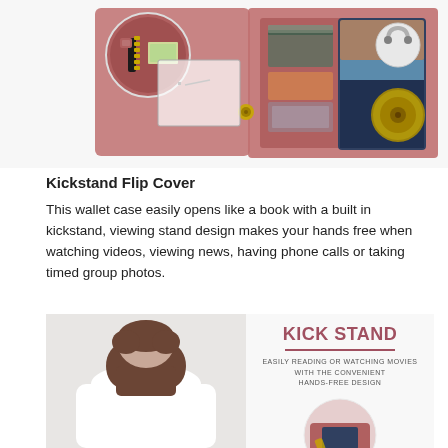[Figure (photo): Product photo of an open red/maroon leather wallet phone case showing card slots, zipper pocket, and magnetic snap, with component callout circles on the right side showing the snap and magnet details.]
Kickstand Flip Cover
This wallet case easily opens like a book with a built in kickstand, viewing stand design makes your hands free when watching videos, viewing news, having phone calls or taking timed group photos.
[Figure (photo): Left side: photo of a person from behind wearing a white shirt. Right side: promotional infographic with text 'KICK STAND' in bold pink/mauve, underline, then 'EASILY READING OR WATCHING MOVIES WITH THE CONVENIENT HANDS-FREE DESIGN', and a circular photo of the phone case kickstand in use below.]